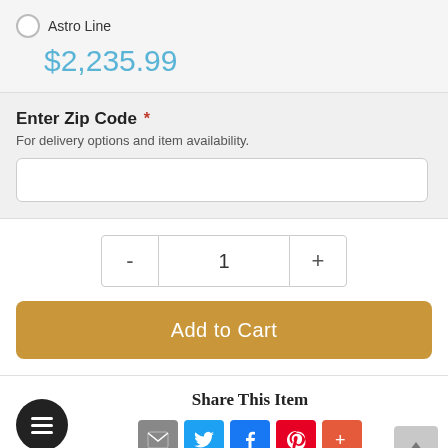Astro Line
$2,235.99
Enter Zip Code *
For delivery options and item availability.
1
Add to Cart
Share This Item